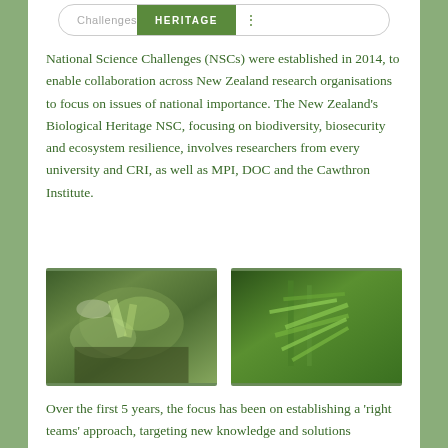[Figure (other): Header banner with oval shape containing 'Challenges' text in grey and 'HERITAGE' text in white on green background tab, with green dots icon]
National Science Challenges (NSCs) were established in 2014, to enable collaboration across New Zealand research organisations to focus on issues of national importance. The New Zealand's Biological Heritage NSC, focusing on biodiversity, biosecurity and ecosystem resilience, involves researchers from every university and CRI, as well as MPI, DOC and the Cawthron Institute.
[Figure (photo): Two nature photographs side by side: left photo shows a hand holding small green plant leaves with yellow spotting against a forest floor background; right photo shows bright green elongated leaves of a plant in a forest setting]
Over the first 5 years, the focus has been on establishing a 'right teams' approach, targeting new knowledge and solutions spanning our knowledge of our biodiversity, technologies for eradicating pests and diseases, and